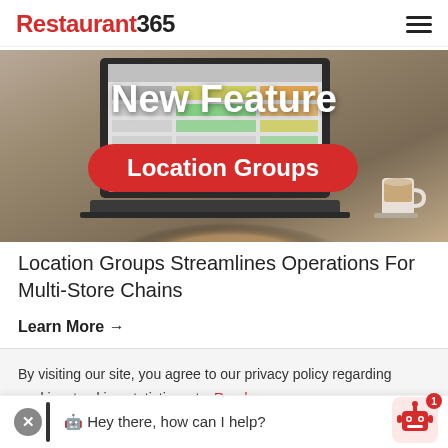Restaurant365
[Figure (photo): Hero image showing a laptop with software interface, hands typing, and coffee cup in background, with 'New Feature' text overlay and 'Location Groups' red badge]
Location Groups Streamlines Operations For Multi-Store Chains
Learn More →
By visiting our site, you agree to our privacy policy regarding cookies, tracking statistics, etc. Read more
🤖 Hey there, how can I help?